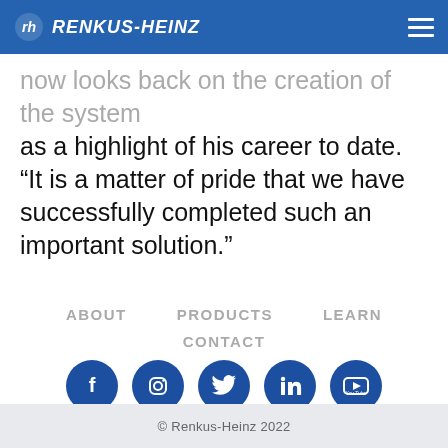RENKUS-HEINZ
now looks back on the creation of the system as a highlight of his career to date. “It is a matter of pride that we have successfully completed such an important solution.”
ABOUT
PRODUCTS
LEARN
CONTACT
[Figure (infographic): Five blue circular social media icons: Facebook, Instagram, Twitter, LinkedIn, YouTube]
© Renkus-Heinz 2022